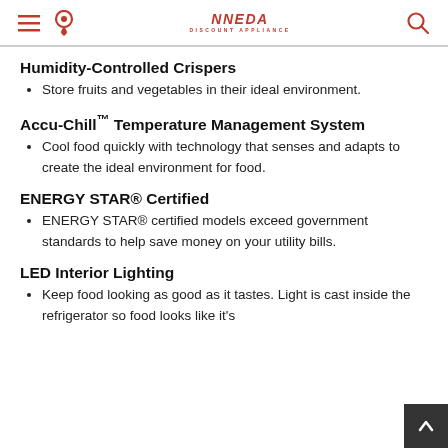NNEDA DISCOUNT APPLIANCE (header with hamburger menu, location pin, logo, and search icon)
Humidity-Controlled Crispers
Store fruits and vegetables in their ideal environment.
Accu-Chill™ Temperature Management System
Cool food quickly with technology that senses and adapts to create the ideal environment for food.
ENERGY STAR® Certified
ENERGY STAR® certified models exceed government standards to help save money on your utility bills.
LED Interior Lighting
Keep food looking as good as it tastes. Light is cast inside the refrigerator so food looks like it's…